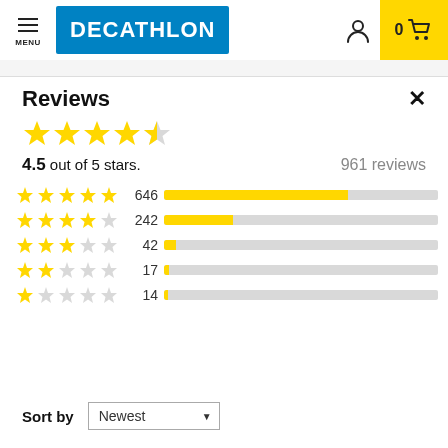[Figure (logo): Decathlon website header with hamburger menu, Decathlon blue logo, user icon, and cart with 0 items on yellow background]
Reviews
[Figure (infographic): 4.5 out of 5 stars rating with 5 large yellow stars (4 full, 1 half)]
4.5 out of 5 stars. 961 reviews
[Figure (bar-chart): Reviews by star rating]
Sort by  Newest